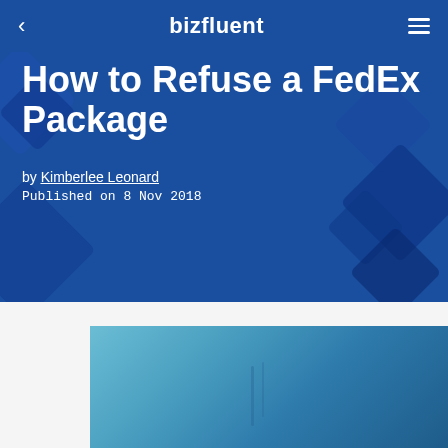bizfluent
How to Refuse a FedEx Package
by Kimberlee Leonard
Published on 8 Nov 2018
[Figure (photo): Photo of a person wearing a blue shirt, partially visible from the waist up against a light background]